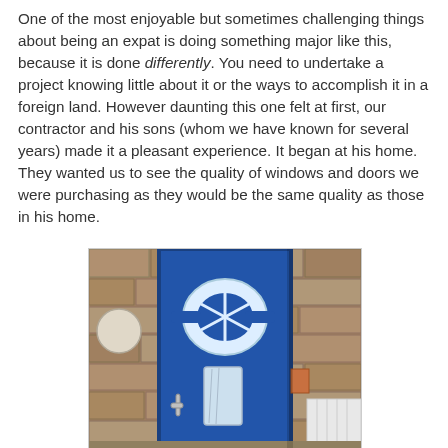One of the most enjoyable but sometimes challenging things about being an expat is doing something major like this, because it is done differently. You need to undertake a project knowing little about it or the ways to accomplish it in a foreign land. However daunting this one felt at first, our contractor and his sons (whom we have known for several years) made it a pleasant experience. It began at his home. They wanted us to see the quality of windows and doors we were purchasing as they would be the same quality as those in his home.
[Figure (photo): Photo of a blue front door with decorative circular glass panel design set in a stone wall exterior, with a white radiator visible to the right.]